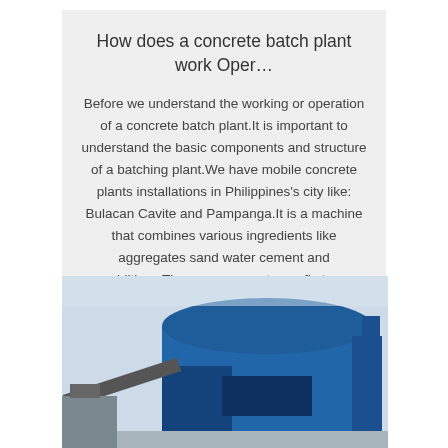How does a concrete batch plant work Oper…
Before we understand the working or operation of a concrete batch plant.It is important to understand the basic components and structure of a batching plant.We have mobile concrete plants installations in Philippines's city like: Bulacan Cavite and Pampanga.It is a machine that combines various ingredients like aggregates sand water cement and additives.These components are first …
[Figure (other): Button labeled 'Get Price' with a thin border]
[Figure (photo): Photo of a blue concrete batching plant building with conveyor structure, partially visible at the bottom of the page]